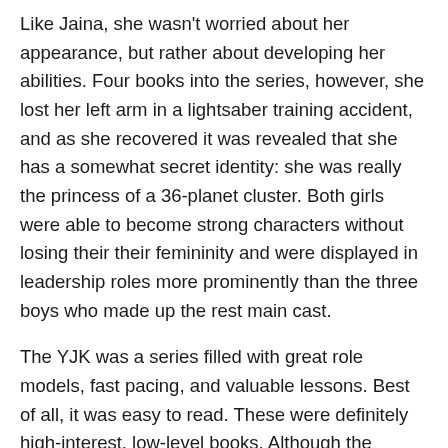Like Jaina, she wasn't worried about her appearance, but rather about developing her abilities.  Four books into the series, however, she lost her left arm in a lightsaber training accident, and as she recovered it was revealed that she has a somewhat secret identity: she was really the princess of a 36-planet cluster.  Both girls were able to become strong characters without losing their their femininity and were displayed in leadership roles more prominently than the three boys who made up the rest main cast.
The YJK was a series filled with great role models, fast pacing, and valuable lessons.  Best of all, it was easy to read.  These were definitely high-interest, low-level books.  Although the characters began at the age of fourteen, the series was really written at a fourth grade reading level, which is just another reason why they were able to pull me